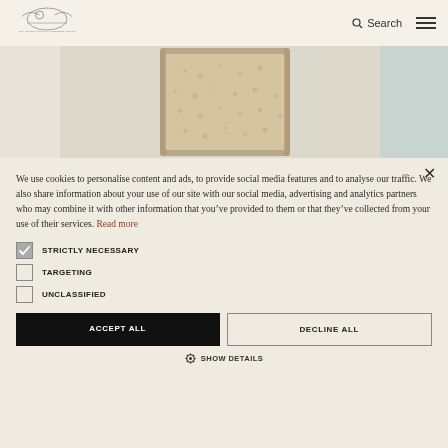Search
[Figure (photo): Close-up photo of a jar filled with rice or grain, light beige/cream background]
We use cookies to personalise content and ads, to provide social media features and to analyse our traffic. We also share information about your use of our site with our social media, advertising and analytics partners who may combine it with other information that you've provided to them or that they've collected from your use of their services. Read more
STRICTLY NECESSARY
TARGETING
UNCLASSIFIED
ACCEPT ALL
DECLINE ALL
SHOW DETAILS